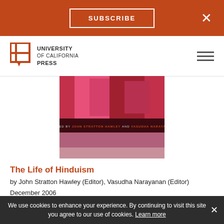SUBSCRIBE  ×
[Figure (logo): University of California Press logo with open book icon and text: UNIVERSITY of CALIFORNIA PRESS]
[Figure (photo): Book cover of 'The Life of Hinduism', edited by John Stratton Hawley and Vasudha Narayanan, showing colorful Indian religious imagery]
The Life of Hinduism
by John Stratton Hawley (Editor), Vasudha Narayanan (Editor)
December 2006
Paperback $34.95, £27.00
eBook $34.95, £27.00
We use cookies to enhance your experience. By continuing to visit this site you agree to our use of cookies. Learn more  ×